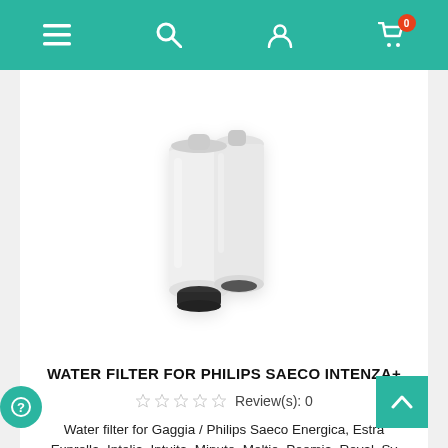Navigation bar with menu, search, account, and cart icons
[Figure (photo): White cylindrical water filter cartridge for Philips Saeco coffee machine, showing two parallel cylindrical tubes joined together with a black rubber base fitting]
WATER FILTER FOR PHILIPS SAECO INTENZA+
Review(s): 0
Water filter for Gaggia / Philips Saeco Energica, Estra Exprella, Intelia, Intuita, Minuto, Moltio, Poemia, Royal, Sy
€12.90